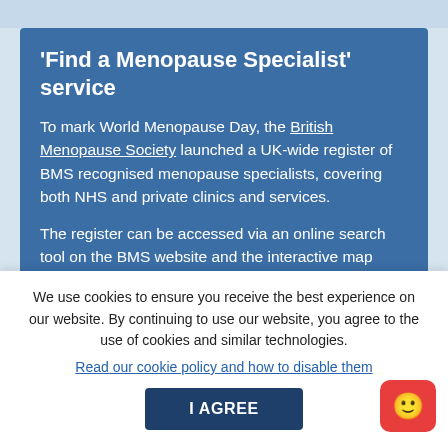'Find a Menopause Specialist' service
To mark World Menopause Day, the British Menopause Society launched a UK-wide register of BMS recognised menopause specialists, covering both NHS and private clinics and services.
The register can be accessed via an online search tool on the BMS website and the interactive map
We use cookies to ensure you receive the best experience on our website. By continuing to use our website, you agree to the use of cookies and similar technologies.
Read our cookie policy and how to disable them
I AGREE